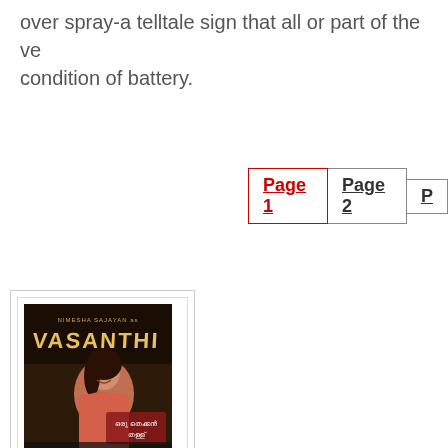over spray-a telltale sign that all or part of the ve... condition of battery.
Page 1  Page 2  P...
[Figure (photo): Movie poster for 'Vasanthi' featuring actress Nimesha Sajayan. Title text 'VASANTHI' in large letters. Malayalam text at bottom. Sub-caption 'Oru Thekkan Thallu' below poster.]